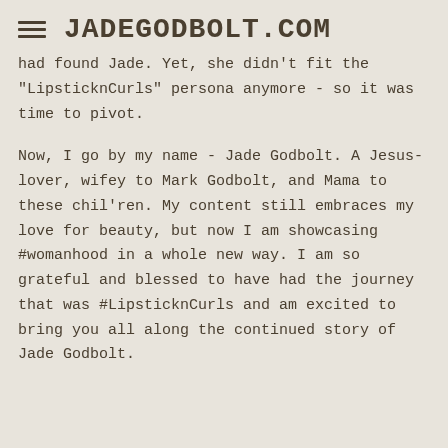JADEGODBOLT.COM
had found Jade. Yet, she didn't fit the "LipsticknCurls" persona anymore - so it was time to pivot.
Now, I go by my name - Jade Godbolt. A Jesus-lover, wifey to Mark Godbolt, and Mama to these chil'ren. My content still embraces my love for beauty, but now I am showcasing #womanhood in a whole new way. I am so grateful and blessed to have had the journey that was #LipsticknCurls and am excited to bring you all along the continued story of Jade Godbolt.